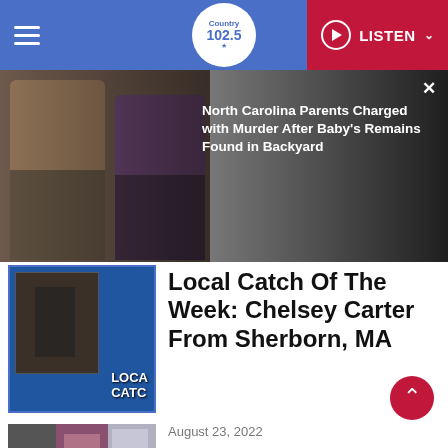Country 102.5 | LISTEN
[Figure (photo): Two mugshot photos of North Carolina parents against dark background with news headline overlay]
North Carolina Parents Charged with Murder After Baby's Remains Found in Backyard
[Figure (photo): Thumbnail image for Local Catch of the Week segment with blue background and Local Catch text]
Local Catch Of The Week: Chelsey Carter From Sherborn, MA
August 23, 2022
The Fascination With 90s Country Music
[Figure (photo): Three concert photos of country music performers on stage]